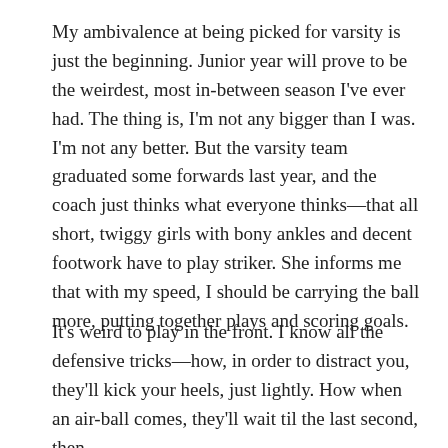My ambivalence at being picked for varsity is just the beginning. Junior year will prove to be the weirdest, most in-between season I've ever had. The thing is, I'm not any bigger than I was. I'm not any better. But the varsity team graduated some forwards last year, and the coach just thinks what everyone thinks—that all short, twiggy girls with bony ankles and decent footwork have to play striker. She informs me that with my speed, I should be carrying the ball more, putting together plays and scoring goals.
It's weird to play in the front. I know all the defensive tricks—how, in order to distract you, they'll kick your heels, just lightly. How when an air-ball comes, they'll wait til the last second, then